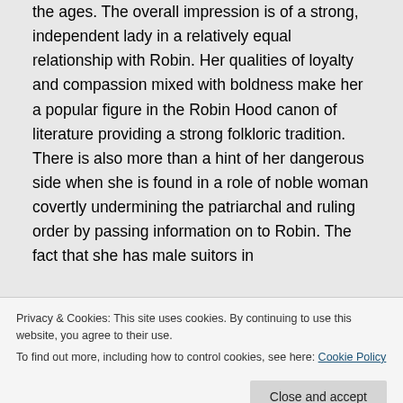the ages. The overall impression is of a strong, independent lady in a relatively equal relationship with Robin. Her qualities of loyalty and compassion mixed with boldness make her a popular figure in the Robin Hood canon of literature providing a strong folkloric tradition. There is also more than a hint of her dangerous side when she is found in a role of noble woman covertly undermining the patriarchal and ruling order by passing information on to Robin. The fact that she has male suitors in
Privacy & Cookies: This site uses cookies. By continuing to use this website, you agree to their use.
To find out more, including how to control cookies, see here: Cookie Policy
Marion and Robin in France